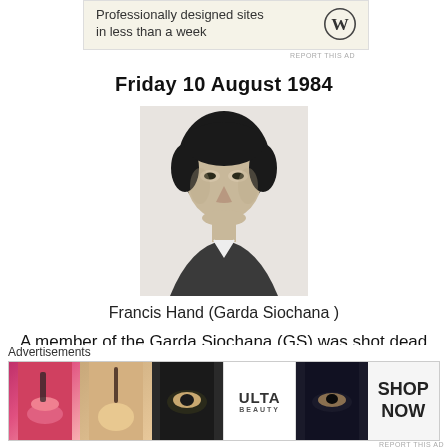[Figure (other): WordPress advertisement banner: 'Professionally designed sites in less than a week' with WordPress logo]
Friday 10 August 1984
[Figure (photo): Black and white portrait photo of Francis Hand]
Francis Hand (Garda Siochana )
A member of the Garda Siochana (GS) was shot dead by the Irish Republican Army (IRA) in County Meath. A member of the Ulster Defence Association (UDA) was accidentally
[Figure (other): Advertisements banner at bottom: Ulta Beauty advertisement with makeup imagery and 'SHOP NOW' call to action]